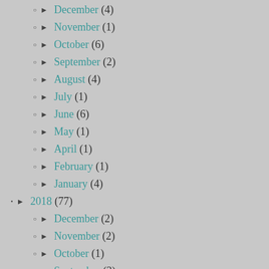December (4)
November (1)
October (6)
September (2)
August (4)
July (1)
June (6)
May (1)
April (1)
February (1)
January (4)
2018 (77)
December (2)
November (2)
October (1)
September (3)
August (2)
July (5)
June (7)